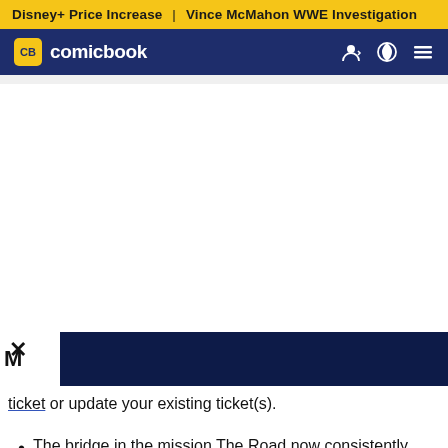Disney+ Price Increase | Vince McMahon WWE Investigation
CB comicbook
[Figure (screenshot): ComicBook video player overlay showing the CB comicbook logo with play button on dark navy background]
ticket or update your existing ticket(s).
The bridge in the mission The Road now consistently extends after skipping related dialogue.